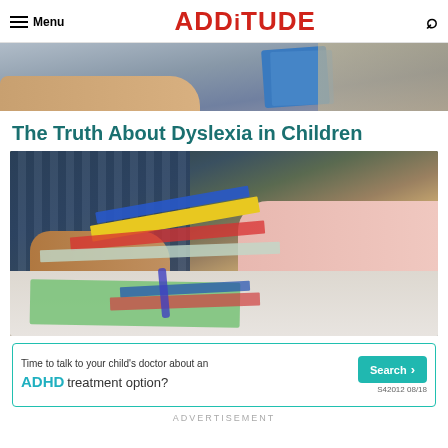Menu | ADDITUDE
[Figure (photo): Top portion of a photo showing someone holding a blue folder or book, partially cropped]
The Truth About Dyslexia in Children
[Figure (photo): Two people at a desk with colorful folders/papers — yellow, blue, red, green — being handled, a learning/tutoring scene]
[Figure (infographic): Advertisement banner: 'Time to talk to your child's doctor about an ADHD treatment option?' with a teal Search button and code S42012 08/18]
ADVERTISEMENT